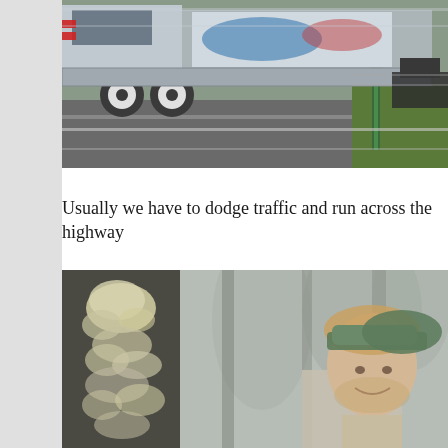[Figure (photo): A large truck/semi-trailer moving at speed on a highway, with motion blur. Green grass and a fence are visible on the right side of the road.]
Usually we have to dodge traffic and run across the highway
[Figure (photo): A young man wearing a backwards green cap, smiling, standing in a foggy wooded area next to a tree with lichen or moss on it.]